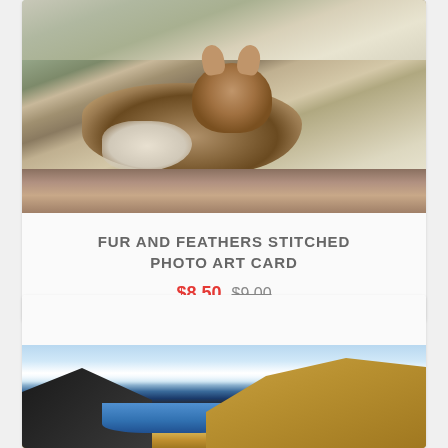[Figure (photo): Photo of a small fox or coyote pup lying on a textile/quilt background with swirling stitched patterns]
FUR AND FEATHERS STITCHED PHOTO ART CARD
$8.50 $9.00
[Figure (photo): Quilted art piece showing a mountain landscape with dark rocky peaks, blue water/sky, white clouds, and golden hillside]